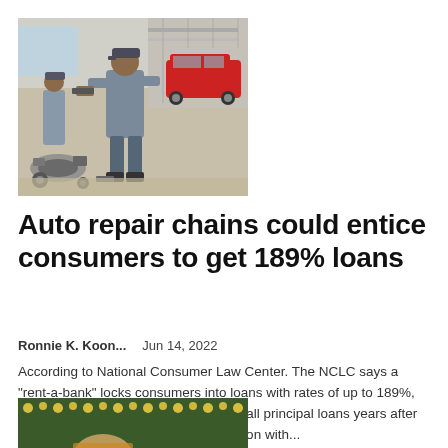[Figure (photo): Auto mechanic in a gray uniform working on car parts in a repair shop garage. Engine components spread on the floor, red classic car visible in background.]
Auto repair chains could entice consumers to get 189% loans
Ronnie K. Koon...   Jun 14, 2022
According to National Consumer Law Center. The NCLC says a "rent-a-bank" locks consumers into loans with rates of up to 189%, leaving them unable to repay even small principal loans years after the fact.EasyPay Finance, in conjunction with...
[Figure (photo): Partial view of a person in front of a decorative background with lights.]